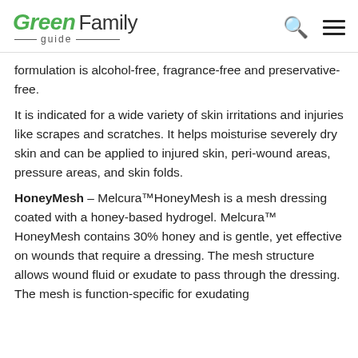Green Family guide
formulation is alcohol-free, fragrance-free and preservative-free.
It is indicated for a wide variety of skin irritations and injuries like scrapes and scratches. It helps moisturise severely dry skin and can be applied to injured skin, peri-wound areas, pressure areas, and skin folds.
HoneyMesh – Melcura™HoneyMesh is a mesh dressing coated with a honey-based hydrogel. Melcura™ HoneyMesh contains 30% honey and is gentle, yet effective on wounds that require a dressing. The mesh structure allows wound fluid or exudate to pass through the dressing. The mesh is function-specific for exudating wounds.